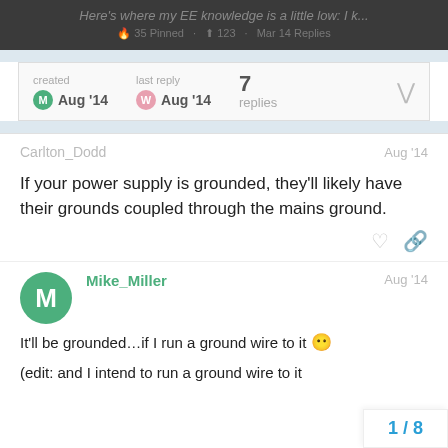Here's where my EE knowledge is a little low: I k...
created Aug '14   last reply Aug '14   7 replies
Carlton_Dodd   Aug '14
If your power supply is grounded, they'll likely have their grounds coupled through the mains ground.
Mike_Miller   Aug '14
It'll be grounded…if I run a ground wire to it
(edit: and I intend to run a ground wire to it
1 / 8